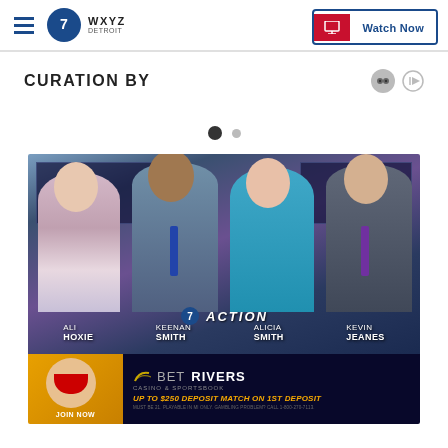WXYZ Detroit - Watch Now
CURATION BY
[Figure (photo): WXYZ Detroit Action News anchor team photo: Ali Hoxie, Keenan Smith, Alicia Smith, Kevin Jeanes standing in front of a studio backdrop with city skyline screens. Names labeled at bottom of photo.]
[Figure (photo): BetRivers Casino and Sportsbook advertisement banner: Join Now, Up to $250 Deposit Match on 1st Deposit. Must be 21, Playable in MI only, Gambling Problem? Call 1-800-270-7117.]